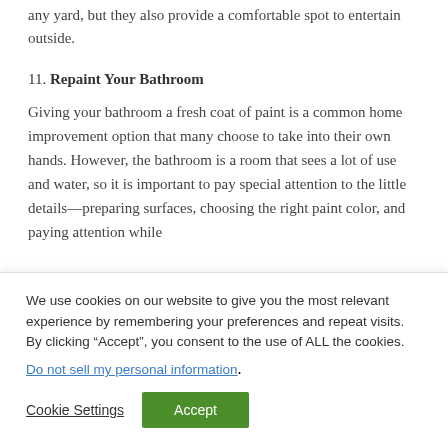any yard, but they also provide a comfortable spot to entertain outside.
11. Repaint Your Bathroom
Giving your bathroom a fresh coat of paint is a common home improvement option that many choose to take into their own hands. However, the bathroom is a room that sees a lot of use and water, so it is important to pay special attention to the little details—preparing surfaces, choosing the right paint color, and paying attention while
We use cookies on our website to give you the most relevant experience by remembering your preferences and repeat visits. By clicking “Accept”, you consent to the use of ALL the cookies.
Do not sell my personal information.
Cookie Settings
Accept